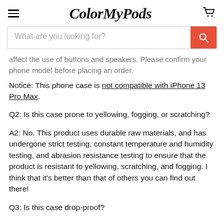ColorMyPods
affect the use of buttons and speakers. Please confirm your phone model before placing an order.
Notice: This phone case is not compatible with iPhone 13 Pro Max.
Q2: Is this case prone to yellowing, fogging, or scratching?
A2: No. This product uses durable raw materials, and has undergone strict testing, constant temperature and humidity testing, and abrasion resistance testing to ensure that the product is resistant to yellowing, scratching, and fogging. I think that it's better than that of others you can find out there!
Q3: Is this case drop-proof?